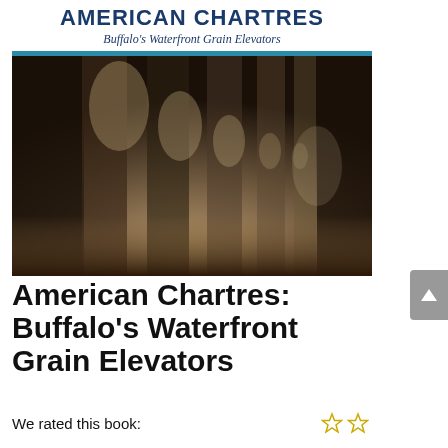[Figure (photo): Book cover for 'American Chartres: Buffalo's Waterfront Grain Elevators'. Top section shows white background with the title in bold dark blue uppercase letters and subtitle in italic below a thick teal-blue horizontal bar. Main image shows the interior of a grain elevator with massive concrete columns receding into the distance, lit in warm brown tones.]
American Chartres: Buffalo's Waterfront Grain Elevators
We rated this book: